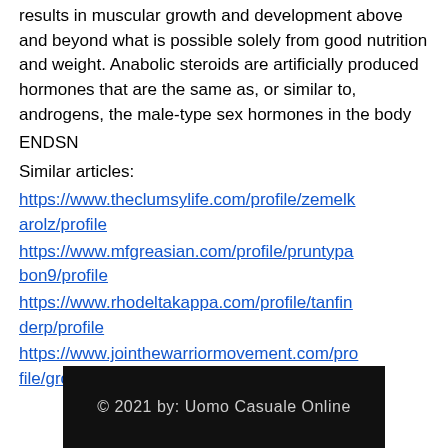results in muscular growth and development above and beyond what is possible solely from good nutrition and weight. Anabolic steroids are artificially produced hormones that are the same as, or similar to, androgens, the male-type sex hormones in the body
ENDSN
Similar articles:
https://www.theclumsylife.com/profile/zemelkarolz/profile
https://www.mfgreasian.com/profile/pruntypabon9/profile
https://www.rhodeltakappa.com/profile/tanfinderp/profile
https://www.jointhewarriormovement.com/profile/gronernaeglei/profile
© 2021 by: Uomo Casuale Online